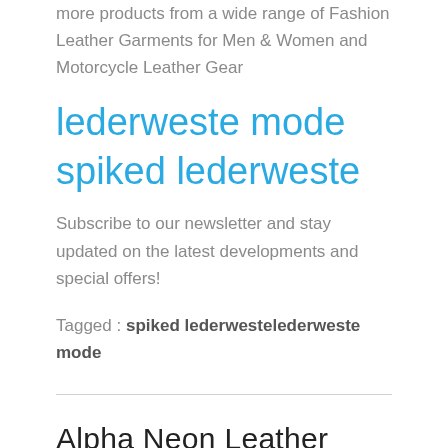more products from a wide range of Fashion Leather Garments for Men & Women and Motorcycle Leather Gear
lederweste mode spiked lederweste
Subscribe to our newsletter and stay updated on the latest developments and special offers!
Tagged : spiked lederwestelederweste mode
Alpha Neon Leather Motorbike Suit… Suit…